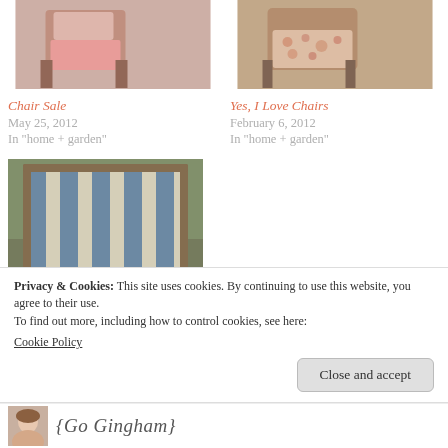[Figure (photo): Chair with pink cushion]
Chair Sale
May 25, 2012
In "home + garden"
[Figure (photo): Chair with floral upholstery]
Yes, I Love Chairs
February 6, 2012
In "home + garden"
[Figure (photo): Striped outdoor deck chair]
How to Fix Outdoor Chairs
July 23, 2011
In "home + garden"
Privacy & Cookies: This site uses cookies. By continuing to use this website, you agree to their use.
To find out more, including how to control cookies, see here:
Cookie Policy
Close and accept
[Figure (photo): Avatar/profile photo thumbnail]
{Go Gingham}